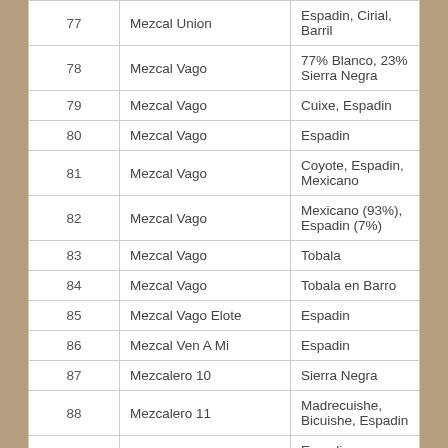| 77 | Mezcal Union | Espadin, Cirial, Barril |
| 78 | Mezcal Vago | 77% Blanco, 23% Sierra Negra |
| 79 | Mezcal Vago | Cuixe, Espadin |
| 80 | Mezcal Vago | Espadin |
| 81 | Mezcal Vago | Coyote, Espadin, Mexicano |
| 82 | Mezcal Vago | Mexicano (93%), Espadin (7%) |
| 83 | Mezcal Vago | Tobala |
| 84 | Mezcal Vago | Tobala en Barro |
| 85 | Mezcal Vago Elote | Espadin |
| 86 | Mezcal Ven A Mi | Espadin |
| 87 | Mezcalero 10 | Sierra Negra |
| 88 | Mezcalero 11 | Madrecuishe, Bicuishe, Espadin |
|  |  | Espadin, Tepeztate, |